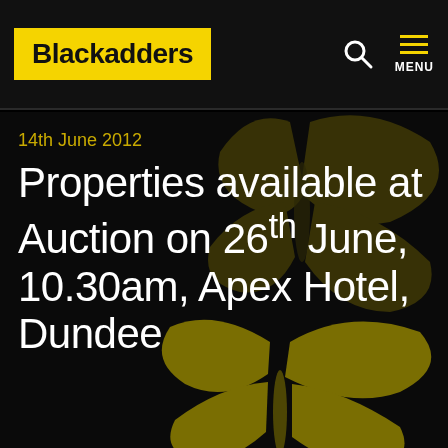Blackadders
14th June 2012
Properties available at Auction on 26th June, 10.30am, Apex Hotel, Dundee